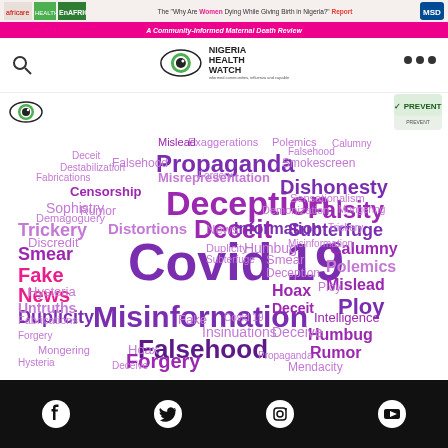The 'Why Are Women Dying While Giving Birth in Nigeria?' Report — A Community-Informed Maternal Death Review
[Figure (logo): Nigeria Health Watch logo with eye icon and text]
[Figure (logo): Small eye logo (NHW) on the left]
[Figure (logo): PREVENT badge logo on the right]
[Figure (infographic): Word cloud about Covid-19 misinformation featuring words: Covid 19, Misinformation, Deception, Propaganda, Falsehood, Deceit, Fake News, Duplicity, Forgery, Dishonesty, Falsity, Subterfuge, Trickery, Smear, Calumny, Polemics, Mislead, Ploy, Humbug, Rumor, Hoax, Sophistry, Hysteria, Discredit, Demagoguery, Information, Censorship, Fabrications, Forgery, Insinuations, Deceive, Mendacity, Intelligence, Mongering, Sensationalism]
Social media icons: Facebook, Twitter, LinkedIn, WhatsApp, Telegram, Share
Footer social icons: Facebook, Twitter, Instagram, YouTube